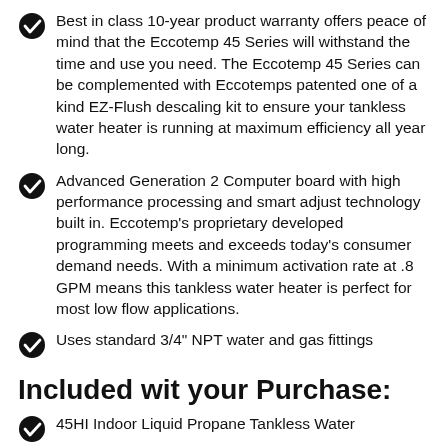Best in class 10-year product warranty offers peace of mind that the Eccotemp 45 Series will withstand the time and use you need. The Eccotemp 45 Series can be complemented with Eccotemps patented one of a kind EZ-Flush descaling kit to ensure your tankless water heater is running at maximum efficiency all year long.
Advanced Generation 2 Computer board with high performance processing and smart adjust technology built in. Eccotemp's proprietary developed programming meets and exceeds today's consumer demand needs. With a minimum activation rate at .8 GPM means this tankless water heater is perfect for most low flow applications.
Uses standard 3/4" NPT water and gas fittings
Included wit your Purchase:
45HI Indoor Liquid Propane Tankless Water...